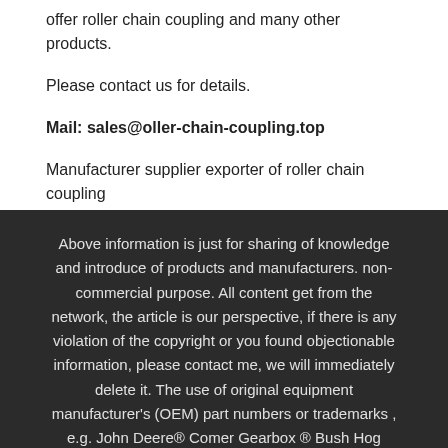offer roller chain coupling and many other products.
Please contact us for details.
Mail: sales@oller-chain-coupling.top
Manufacturer supplier exporter of roller chain coupling
Above information is just for sharing of knowledge and introduce of products and manufacturers. non-commercial purpose. All content get from the network, the article is our perspective, if there is any violation of the copyright or you found objectionable information, please contact me, we will immediately delete it. The use of original equipment manufacturer's (OEM) part numbers or trademarks , e.g. John Deere® Comer Gearbox ® Bush Hog Gearbox® Omni Gear® etc. are for reference purposes only and for indicating product